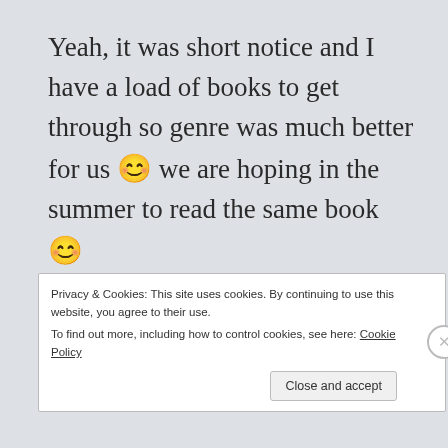Yeah, it was short notice and I have a load of books to get through so genre was much better for us 😊 we are hoping in the summer to read the same book 😊
★ Like
Reply ↓
Privacy & Cookies: This site uses cookies. By continuing to use this website, you agree to their use.
To find out more, including how to control cookies, see here: Cookie Policy
Close and accept